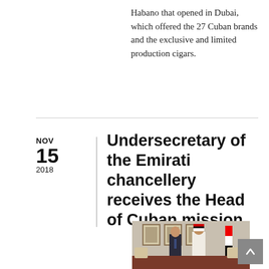Habano that opened in Dubai, which offered the 27 Cuban brands and the exclusive and limited production cigars.
Undersecretary of the Emirati chancellery receives the Head of Cuban mission
NOV
15
2018
[Figure (photo): Two men standing together in a formal office setting with framed portrait photos on the wall behind them and a UAE flag visible to the right. One man is wearing a dark business suit and the other is wearing a white dishdasha (traditional UAE attire).]